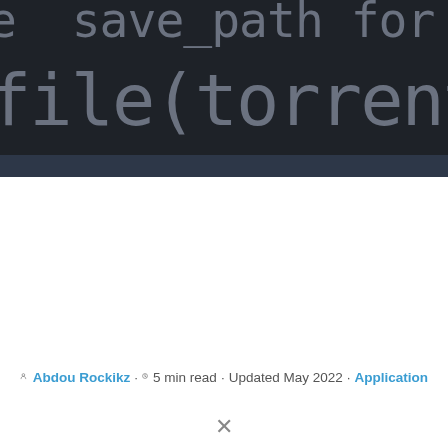[Figure (screenshot): Dark-themed code editor screenshot showing partial code: '...e save_path for_downl...' on first line and 'file(torrent_file, save...' on second line in grey monospace font on dark background]
Abdou Rockikz · 5 min read · Updated May 2022 · Application